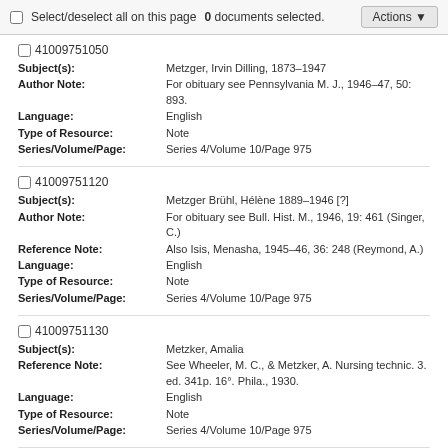Select/deselect all on this page  0 documents selected.  Actions
41009751050
Subject(s): Metzger, Irvin Dilling, 1873-1947
Author Note: For obituary see Pennsylvania M. J., 1946-47, 50: 893.
Language: English
Type of Resource: Note
Series/Volume/Page: Series 4/Volume 10/Page 975
41009751120
Subject(s): Metzger Brühl, Hélène 1889-1946 [?]
Author Note: For obituary see Bull. Hist. M., 1946, 19: 461 (Singer, C.)
Reference Note: Also Isis, Menasha, 1945-46, 36: 248 (Reymond, A.)
Language: English
Type of Resource: Note
Series/Volume/Page: Series 4/Volume 10/Page 975
41009751130
Subject(s): Metzker, Amalia
Reference Note: See Wheeler, M. C., & Metzker, A. Nursing technic. 3. ed. 341p. 16°. Phila., 1930.
Language: English
Type of Resource: Note
Series/Volume/Page: Series 4/Volume 10/Page 975
41009751180
Subject(s): Meulemans, I. O.
Reference Note: See Haas, J. H. de, & Meulemans, I. O. Melk in het bijzonder als zuigelingenvoedsel. 104p. 24 ½cm. Batavia, 1940.
Language: Dutch